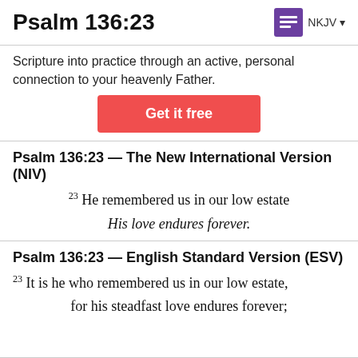Psalm 136:23
Scripture into practice through an active, personal connection to your heavenly Father.
Get it free
Psalm 136:23 — The New International Version (NIV)
23 He remembered us in our low estate
His love endures forever.
Psalm 136:23 — English Standard Version (ESV)
23 It is he who remembered us in our low estate,
for his steadfast love endures forever;